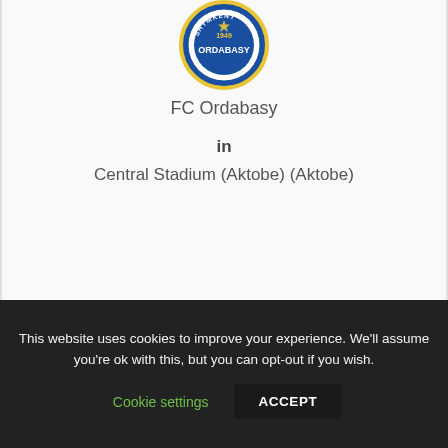[Figure (logo): FC Ordabasy circular club crest logo with blue and yellow colors, text SHYMKENT 1949 ORDABASY]
FC Ordabasy
in
Central Stadium (Aktobe) (Aktobe)
This website uses cookies to improve your experience. We'll assume you're ok with this, but you can opt-out if you wish.